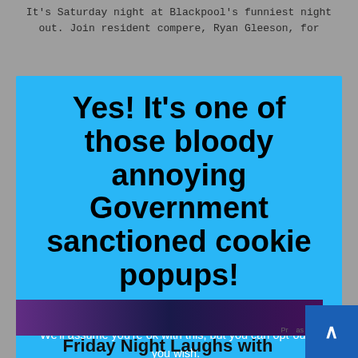It's Saturday night at Blackpool's funniest night out. Join resident compere, Ryan Gleeson, for
[Figure (screenshot): A cookie consent popup overlay with a bright blue background. The popup contains bold black heading 'Yes! It's one of those bloody annoying Government sanctioned cookie popups!' followed by white body text 'This website uses cookies to improve your experience. We'll assume you're ok with this, but you can opt-out if you wish.' with two blue buttons labeled 'Yup!' and 'Nope!' and a 'Read More' underlined link.]
[Figure (photo): A dark promotional image at the bottom of the page, partially visible, possibly showing performers on stage.]
Friday Night Laughs with